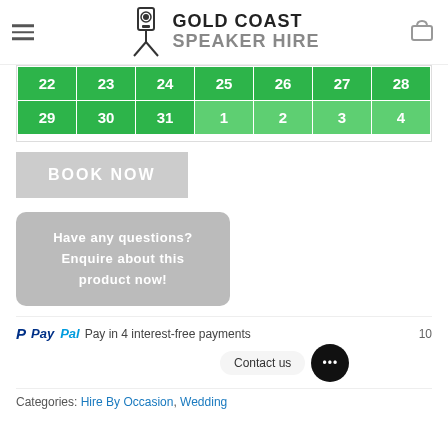GOLD COAST SPEAKER HIRE
| 22 | 23 | 24 | 25 | 26 | 27 | 28 |
| 29 | 30 | 31 | 1 | 2 | 3 | 4 |
BOOK NOW
Have any questions? Enquire about this product now!
PayPal Pay in 4 interest-free payments
Contact us
Categories: Hire By Occasion, Wedding